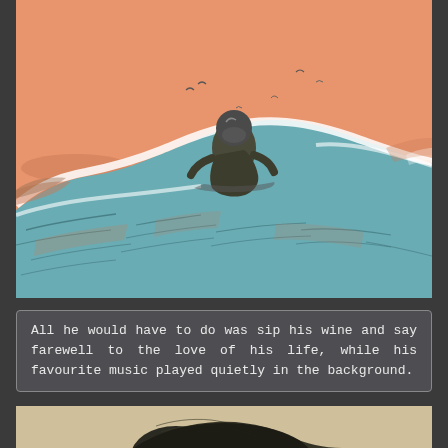[Figure (illustration): Illustrated scene of a surfer or figure riding a large ocean wave against an orange/salmon sky. The wave is rendered in teal and white with expressive linework. The figure wears a dark wetsuit and helmet. Small bird silhouettes appear in the upper background.]
All he would have to do was sip his wine and say farewell to the love of his life, while his favourite music played quietly in the background.
[Figure (illustration): Partial view of a vintage engraving-style illustration on a beige/aged paper background, showing what appears to be a dark, detailed figure or animal.]